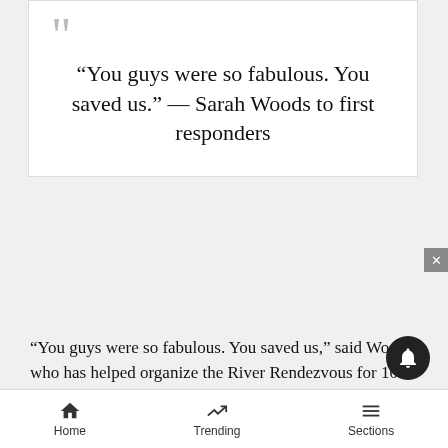“You guys were so fabulous. You saved us.” — Sarah Woods to first responders
“You guys were so fabulous. You saved us,” said Woods, who has helped organize the River Rendezvous for 10 years.
Images of the frenetic first day and a half of firefig... reside... tive
[Figure (advertisement): Ulta Beauty advertisement banner with makeup images and SHOP NOW text]
Home   Trending   Sections